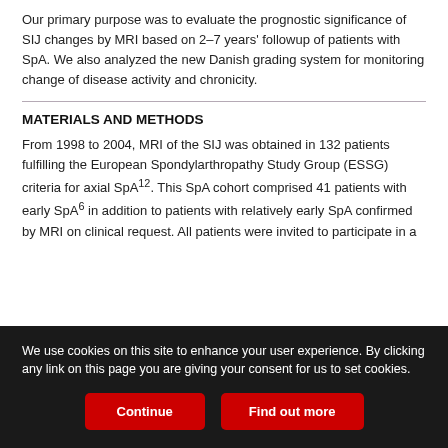Our primary purpose was to evaluate the prognostic significance of SIJ changes by MRI based on 2–7 years' followup of patients with SpA. We also analyzed the new Danish grading system for monitoring change of disease activity and chronicity.
MATERIALS AND METHODS
From 1998 to 2004, MRI of the SIJ was obtained in 132 patients fulfilling the European Spondylarthropathy Study Group (ESSG) criteria for axial SpA12. This SpA cohort comprised 41 patients with early SpA6 in addition to patients with relatively early SpA confirmed by MRI on clinical request. All patients were invited to participate in a
We use cookies on this site to enhance your user experience. By clicking any link on this page you are giving your consent for us to set cookies.